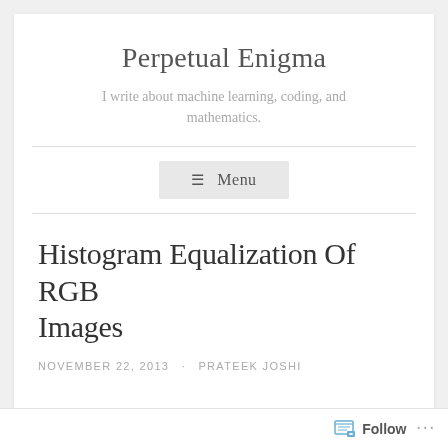Perpetual Enigma
I write about machine learning, coding, and mathematics.
☰ Menu
Histogram Equalization Of RGB Images
NOVEMBER 22, 2013 · PRATEEK JOSHI